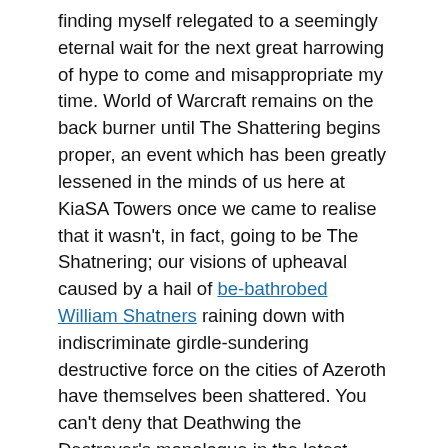finding myself relegated to a seemingly eternal wait for the next great harrowing of hype to come and misappropriate my time. World of Warcraft remains on the back burner until The Shattering begins proper, an event which has been greatly lessened in the minds of us here at KiaSA Towers once we came to realise that it wasn't, in fact, going to be The Shatnering; our visions of upheaval caused by a hail of be-bathrobed William Shatners raining down with indiscriminate girdle-sundering destructive force on the cities of Azeroth have themselves been shattered. You can't deny that Deathwing the Destroyer's monologue in the latest Cataclysm cinematic would have had added gravitas if... it had BEEN... spoken in strangely... PUNCtuated... sentences. Beam... mE Up... Sindy.

Lord of the Rings Online in the EU continues with its 'will we, won't we' teasing of players, like that one drunk uncle at Christmas who taunts his nieces and nephews with their presents for too long, to the point of driving them beyond